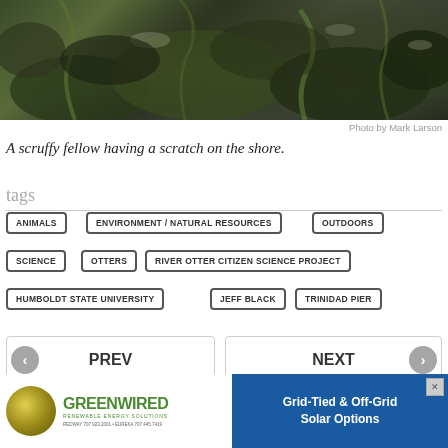[Figure (photo): Close-up photo of a sea otter on rocky shore covered with dark seaweed and algae]
Photo by Mark Larson
A scruffy fellow having a scratch on the shore.
tags
ANIMALS
ENVIRONMENT / NATURAL RESOURCES
OUTDOORS
SCIENCE
OTTERS
RIVER OTTER CITIZEN SCIENCE PROJECT
HUMBOLDT STATE UNIVERSITY
JEFF BLACK
TRINIDAD PIER
PREV
NEXT
[Figure (advertisement): Greenwired Renewable Energy Solutions advertisement with logo and Grid-Tied & Off-Grid Solar Options text]